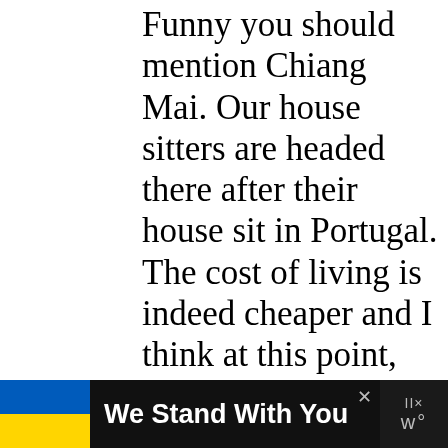Funny you should mention Chiang Mai. Our house sitters are headed there after their house sit in Portugal. The cost of living is indeed cheaper and I think at this point, more bloggers than locals live there. I still think though that a life for less than €1,000 per month will make life really unpleasant. I generally think it's a good idea to live at least as well as you did, not worse if you move to a new country. Portugal is a gem, not sure it's really hidden
[Figure (infographic): Advertisement bar at bottom: Ukrainian flag (blue and yellow), bold white text 'We Stand With You', close X button, logo area with 'II x' and 'w°' symbols on dark background]